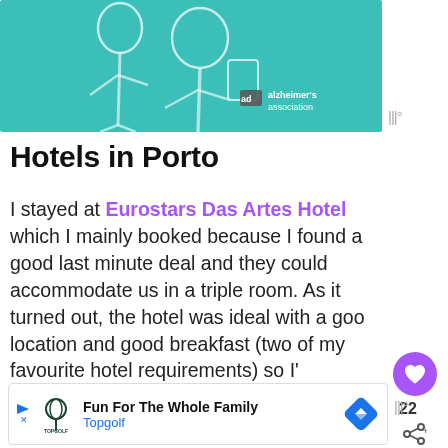[Figure (illustration): Advertisement banner showing illustrated older adults with teal background and Alzheimer's Association logo]
Hotels in Porto
I stayed at Eurostars Das Artes Hotel which I mainly booked because I found a good last minute deal and they could accommodate us in a triple room. As it turned out, the hotel was ideal with a good location and good breakfast (two of my favourite hotel requirements) so I'd recommend it.
[Figure (illustration): Advertisement banner for Topgolf: Fun For The Whole Family with Topgolf logo and navigation icon]